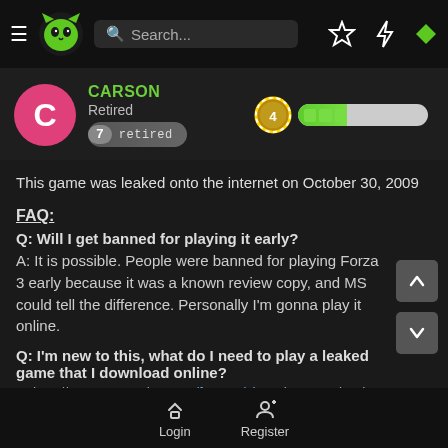[Figure (screenshot): Dark-themed gaming forum website header with hamburger menu, green cat logo, search bar, star icon, lightning bolt icon, and green diamond icon]
[Figure (screenshot): User profile area showing Carson with pink avatar, Retired status, badge number 7 retired, and XP level 4 progress bar]
This game was leaked onto the internet on October 30, 2009
FAQ:
Q: Will I get banned for playing it early?
A: It is possible. People were banned for playing Forza 3 early because it was a known review copy, and MS could tell the difference. Personally I'm gonna play it online.
Q: I'm new to this, what do I need to play a leaked game that I download online?
A: http://www.se7ensins.com/forums/xbo -xbox-360-beginner-
[Figure (screenshot): Bottom navigation bar with Login and Register buttons]